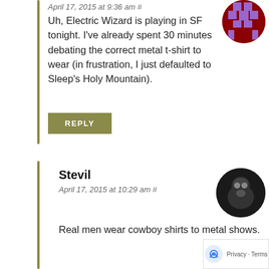April 17, 2015 at 9:36 am #
Uh, Electric Wizard is playing in SF tonight. I've already spent 30 minutes debating the correct metal t-shirt to wear (in frustration, I just defaulted to Sleep's Holy Mountain).
REPLY
Stevil
April 17, 2015 at 10:29 am #
Real men wear cowboy shirts to metal shows.